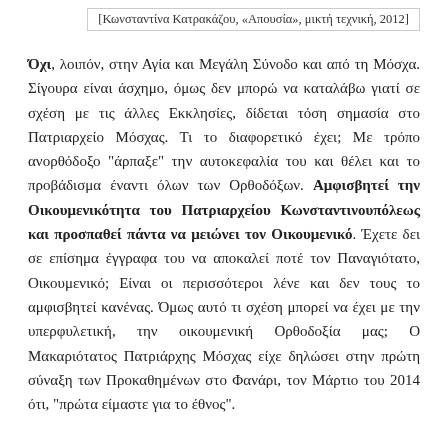[Κωνσταντίνα Κατρακάζου, «Απουσία», μικτή τεχνική, 2012]
Όχι, λοιπόν, στην Αγία και Μεγάλη Σύνοδο και από τη Μόσχα. Σίγουρα είναι άσχημο, όμως δεν μπορώ να καταλάβω γιατί σε σχέση με τις άλλες Εκκλησίες, δίδεται τόση σημασία στο Πατριαρχείο Μόσχας. Τι το διαφορετικό έχει; Με τρόπο ανορθόδοξο "άρπαξε" την αυτοκεφαλία του και θέλει και το προβάδισμα έναντι όλων των Ορθοδόξων. Αμφισβητεί την Οικουμενικότητα του Πατριαρχείου Κωνσταντινουπόλεως και προσπαθεί πάντα να μειώνει τον Οικουμενικό. Έχετε δει σε επίσημα έγγραφα του να αποκαλεί ποτέ τον Παναγιότατο, Οικουμενικό; Είναι οι περισσότεροι λένε και δεν τους το αμφισβητεί κανένας. Όμως αυτό τι σχέση μπορεί να έχει με την υπερφυλετική, την οικουμενική Ορθοδοξία μας; Ο Μακαριότατος Πατριάρχης Μόσχας είχε δηλώσει στην πρώτη σύναξη των Προκαθημένων στο Φανάρι, τον Μάρτιο του 2014 ότι, "πρώτα είμαστε για το έθνος".